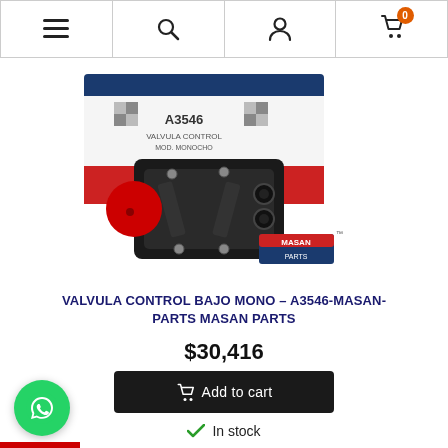Navigation bar with menu, search, account, and cart (0) icons
[Figure (photo): Product photo of a Valvula Control Bajo Mono (A3546) brake valve part by Masan Parts, shown in front of its product packaging box. The component is black with a red handle/knob, with metal bolts and fittings. Box shows checkered flag pattern and red/blue/white colors.]
VALVULA CONTROL BAJO MONO - A3546-MASAN-PARTS MASAN PARTS
$30,416
Add to cart
In stock